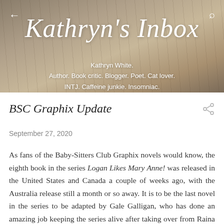[Figure (photo): Blog header banner with a sepia-toned background showing blurred printed text from an old book. Shows navigation arrow on left, search icon on right, the blog title 'Kathryn's Inbox' in large cursive/italic white text, and tagline below it.]
Kathryn's Inbox
Kathryn White.
Author. Book critic. Blogger. Poet. Cat lover.
INTJ. Caffeine junkie. Insomniac.
BSC Graphix Update
September 27, 2020
As fans of the Baby-Sitters Club Graphix novels would know, the eighth book in the series Logan Likes Mary Anne! was released in the United States and Canada a couple of weeks ago, with the Australia release still a month or so away. It is to be the last novel in the series to be adapted by Gale Galligan, who has done an amazing job keeping the series alive after taking over from Raina Telgemeier.